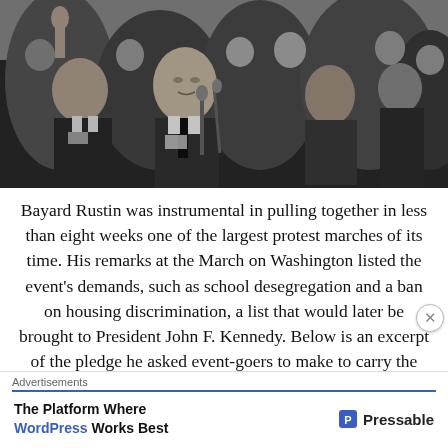[Figure (photo): Black and white photograph of Bayard Rustin and other civil rights leaders at the March on Washington, showing a crowd at a podium with microphones]
Bayard Rustin was instrumental in pulling together in less than eight weeks one of the largest protest marches of its time. His remarks at the March on Washington listed the event's demands, such as school desegregation and a ban on housing discrimination, a list that would later be brought to President John F. Kennedy. Below is an excerpt of the pledge he asked event-goers to make to carry the
Advertisements
The Platform Where WordPress Works Best